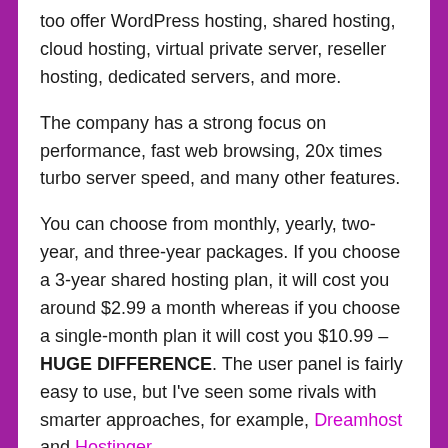too offer WordPress hosting, shared hosting, cloud hosting, virtual private server, reseller hosting, dedicated servers, and more.
The company has a strong focus on performance, fast web browsing, 20x times turbo server speed, and many other features.
You can choose from monthly, yearly, two-year, and three-year packages. If you choose a 3-year shared hosting plan, it will cost you around $2.99 a month whereas if you choose a single-month plan it will cost you $10.99 – HUGE DIFFERENCE. The user panel is fairly easy to use, but I've seen some rivals with smarter approaches, for example, Dreamhost and Hostinger.